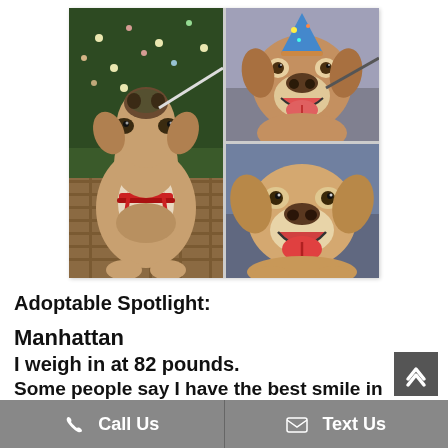[Figure (photo): Collage of three photos of a tan/brown pit bull mix dog named Manhattan. Left: dog looking up toward camera while wearing a red bandana/harness near a Christmas tree. Top right: dog smiling with mouth open wearing a blue party hat. Bottom right: dog smiling directly at camera.]
Adoptable Spotlight:
Manhattan
I weigh in at 82 pounds.
Some people say I have the best smile in town.